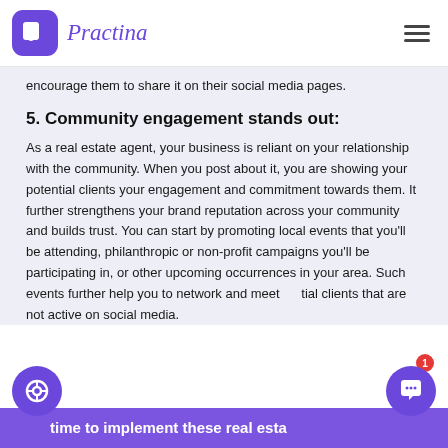Practina
encourage them to share it on their social media pages.
5. Community engagement stands out:
As a real estate agent, your business is reliant on your relationship with the community. When you post about it, you are showing your potential clients your engagement and commitment towards them. It further strengthens your brand reputation across your community and builds trust. You can start by promoting local events that you'll be attending, philanthropic or non-profit campaigns you'll be participating in, or other upcoming occurrences in your area. Such events further help you to network and meet tial clients that are not active on social media.
time to implement these real esta